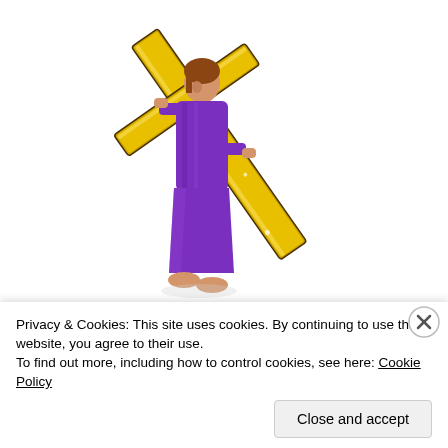[Figure (illustration): Pixel/clip-art style illustration of a robed figure in purple carrying a large golden cross diagonally across their shoulder, walking to the left. The figure has brown hair and bare feet.]
Privacy & Cookies: This site uses cookies. By continuing to use this website, you agree to their use.
To find out more, including how to control cookies, see here: Cookie Policy
Close and accept